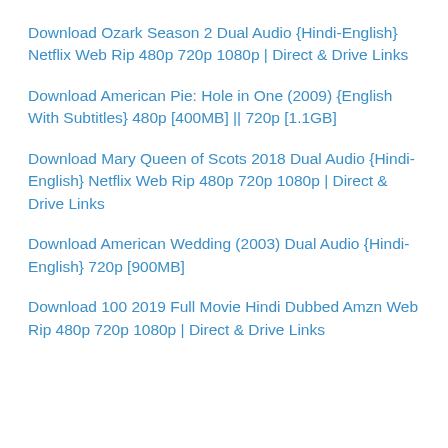Download Ozark Season 2 Dual Audio {Hindi-English} Netflix Web Rip 480p 720p 1080p | Direct & Drive Links
Download American Pie: Hole in One (2009) {English With Subtitles} 480p [400MB] || 720p [1.1GB]
Download Mary Queen of Scots 2018 Dual Audio {Hindi-English} Netflix Web Rip 480p 720p 1080p | Direct & Drive Links
Download American Wedding (2003) Dual Audio {Hindi-English} 720p [900MB]
Download 100 2019 Full Movie Hindi Dubbed Amzn Web Rip 480p 720p 1080p | Direct & Drive Links